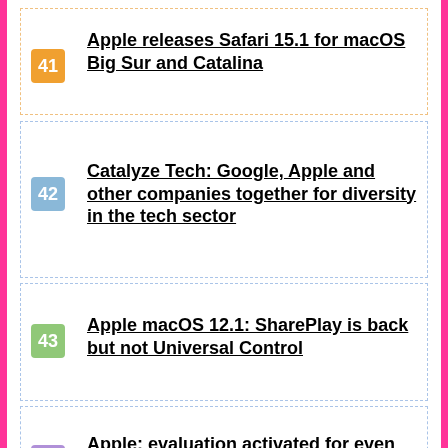41 Apple releases Safari 15.1 for macOS Big Sur and Catalina
42 Catalyze Tech: Google, Apple and other companies together for diversity in the tech sector
43 Apple macOS 12.1: SharePlay is back but not Universal Control
44 Apple: evaluation activated for even more first-party apps